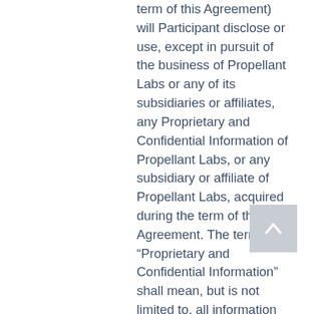term of this Agreement) will Participant disclose or use, except in pursuit of the business of Propellant Labs or any of its subsidiaries or affiliates, any Proprietary and Confidential Information of Propellant Labs, or any subsidiary or affiliate of Propellant Labs, acquired during the term of this Agreement. The term “Proprietary and Confidential Information” shall mean, but is not limited to, all information which is known or intended to be known only to Propellant Labs, its subsidiaries and affiliates, and their employees, including any document, record, financial or other information of Propellant Labs, or others in a confidential relationship with Propellant Labs, and further relates